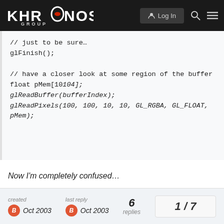KHRONOS GROUP
// just to be sure…
glFinish();

// have a closer look at some region of the buffer
float pMem[10*104];
glReadBuffer(bufferIndex);
glReadPixels(100, 100, 10, 10, GL_RGBA, GL_FLOAT, pMem);
Now I'm completely confused…
Who can help me?
created Oct 2003  last reply Oct 2003  6 replies  1/7